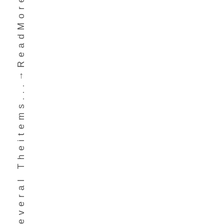e v e r a l T h e i t e m . . . → R e a d M o r e